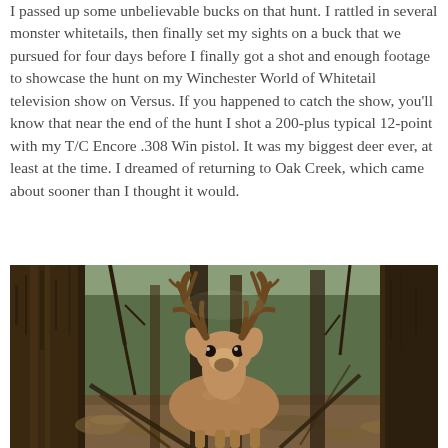I passed up some unbelievable bucks on that hunt. I rattled in several monster whitetails, then finally set my sights on a buck that we pursued for four days before I finally got a shot and enough footage to showcase the hunt on my Winchester World of Whitetail television show on Versus. If you happened to catch the show, you'll know that near the end of the hunt I shot a 200-plus typical 12-point with my T/C Encore .308 Win pistol. It was my biggest deer ever, at least at the time. I dreamed of returning to Oak Creek, which came about sooner than I thought it would.
[Figure (photo): A large whitetail buck with impressive antlers standing among trees in a forest, looking toward the camera. The scene shows the deer among tree trunks and forest floor debris.]